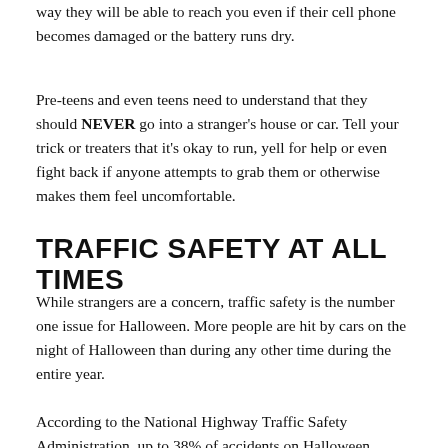way they will be able to reach you even if their cell phone becomes damaged or the battery runs dry.
Pre-teens and even teens need to understand that they should NEVER go into a stranger's house or car. Tell your trick or treaters that it's okay to run, yell for help or even fight back if anyone attempts to grab them or otherwise makes them feel uncomfortable.
TRAFFIC SAFETY AT ALL TIMES
While strangers are a concern, traffic safety is the number one issue for Halloween. More people are hit by cars on the night of Halloween than during any other time during the entire year.
According to the National Highway Traffic Safety Administration, up to 38% of accidents on Halloween